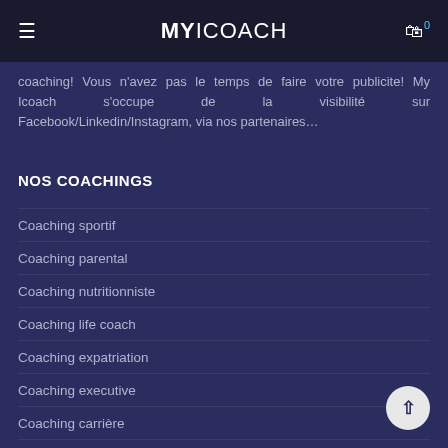MYICOACH
coaching! Vous n'avez pas le temps de faire votre publicite! My Icoach s'occupe de la visibilite sur Facebook/Linkedin/Instagram, via nos partenaires...
NOS COACHINGS
Coaching sportif
Coaching parental
Coaching nutritionniste
Coaching life coach
Coaching expatriation
Coaching executive
Coaching carrière
Coaching en image